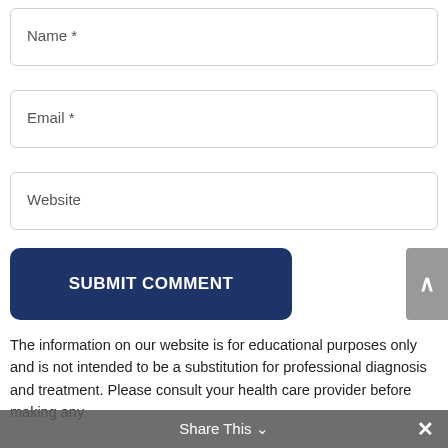Name *
Email *
Website
SUBMIT COMMENT
The information on our website is for educational purposes only and is not intended to be a substitution for professional diagnosis and treatment. Please consult your health care provider before making any
Share This ∨  ✕